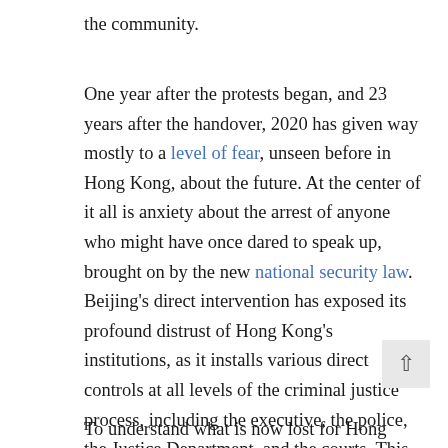the community.
One year after the protests began, and 23 years after the handover, 2020 has given way mostly to a level of fear, unseen before in Hong Kong, about the future. At the center of it all is anxiety about the arrest of anyone who might have once dared to speak up, brought on by the new national security law. Beijing’s direct intervention has exposed its profound distrust of Hong Kong’s institutions, as it installs various direct controls at all levels of the criminal justice process, including the executive, the police, the Justice Department, and the courts. This intervention has brought a chill to Hong Kong’s much vaunted rule of law, its dynamic press, its world-class universities, and its status as Asia’s leading financial center.
To understand what is now lost for Hong Kong and the